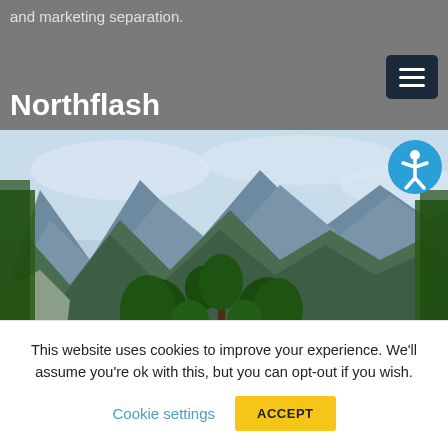and marketing separation.
Northflash
[Figure (photo): Scenic photo of a tropical island with lush green trees surrounded by calm blue water, with large limestone karst mountains in the background under a partly cloudy sky.]
This website uses cookies to improve your experience. We'll assume you're ok with this, but you can opt-out if you wish.
Cookie settings
ACCEPT